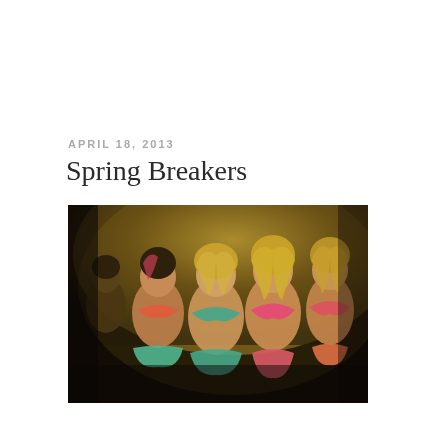APRIL 18, 2013
Spring Breakers
[Figure (photo): Movie still from Spring Breakers (2013) showing several young women in bikinis in a dimly lit room with a yellowish-green ambient light. Three women are prominently featured in the foreground wearing pink and teal bikinis.]